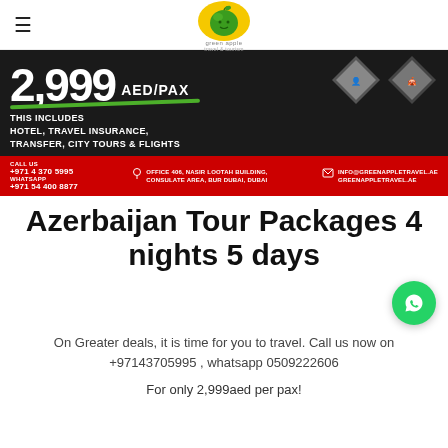Green Apple Travel & Tourism — Navigation header with logo
[Figure (infographic): Dark background travel banner showing price 2,999 AED/PAX with green underline, text 'THIS INCLUDES HOTEL, TRAVEL INSURANCE, TRANSFER, CITY TOURS & FLIGHTS', red contact bar with phone +971 4 370 5995, whatsapp +971 54 400 8877, office address, and email info@greenappletravel.ae / greenappletravel.ae]
Azerbaijan Tour Packages 4 nights 5 days
On Greater deals, it is time for you to travel. Call us now on +97143705995 , whatsapp 0509222606
For only 2,999aed per pax!